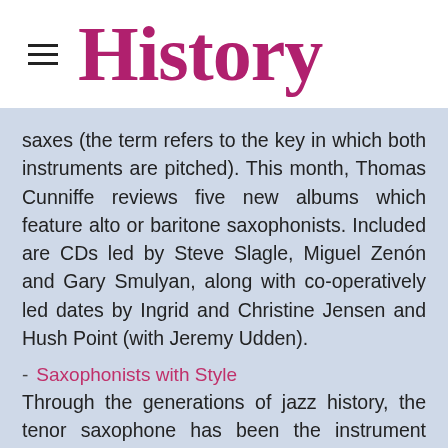History
saxes (the term refers to the key in which both instruments are pitched). This month, Thomas Cunniffe reviews five new albums which feature alto or baritone saxophonists. Included are CDs led by Steve Slagle, Miguel Zenón and Gary Smulyan, along with co-operatively led dates by Ingrid and Christine Jensen and Hush Point (with Jeremy Udden).
- Saxophonists with Style
Through the generations of jazz history, the tenor saxophone has been the instrument most associated with the